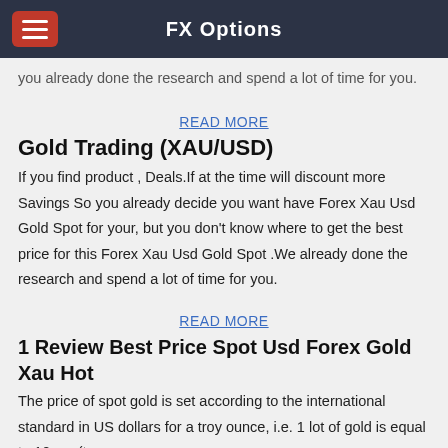FX Options
you already done the research and spend a lot of time for you.
READ MORE
Gold Trading (XAU/USD)
If you find product , Deals.If at the time will discount more Savings So you already decide you want have Forex Xau Usd Gold Spot for your, but you don't know where to get the best price for this Forex Xau Usd Gold Spot .We already done the research and spend a lot of time for you.
READ MORE
1 Review Best Price Spot Usd Forex Gold Xau Hot
The price of spot gold is set according to the international standard in US dollars for a troy ounce, i.e. 1 lot of gold is equal to 10 oz. (troy